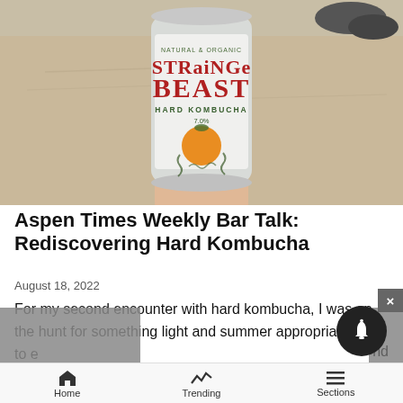[Figure (photo): A hand holding a Strainge Beast Hard Kombucha can on a sandy beach background]
Aspen Times Weekly Bar Talk: Rediscovering Hard Kombucha
August 18, 2022
For my second encounter with hard kombucha, I was on the hunt for something light and summer appropriate to e... Flyin... and